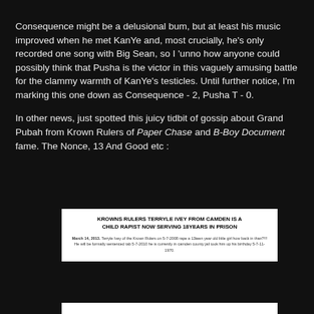Consequence might be a delusional bum, but at least his music improved when he met KanYe and, most crucially, he's only recorded one song with Big Sean, so I 'unno how anyone could possibly think that Pusha is the victor in this vaguely amusing battle for the clammy warmth of KanYe's testicles. Until further notice, I'm marking this one down as Consequence - 2, Pusha T - 0.
In other news, just spotted this juicy tidbit of gossip about Grand Pubah from Krown Rulers of Paper Chase and B-Boy Document fame. The Nonce, 13 And Good etc :
[Figure (screenshot): White box with bold headline: KROWNS RULERS TERRYLE IVEY FROM CAMDEN IS A CHILD RAPIST NOW SERVING 18YEARS IN PRISON. Below is a paragraph of small text starting with March 14, 2013.]